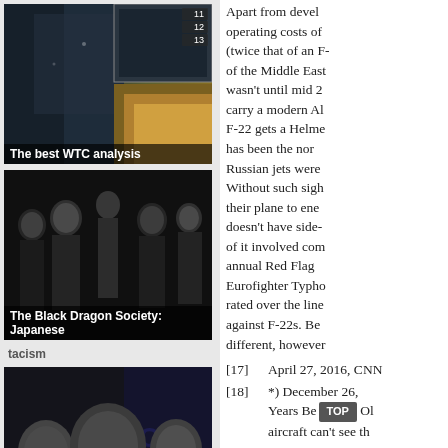[Figure (photo): The best WTC analysis - image of WTC towers with fire/explosion, with numbered badges 11, 12, 13]
[Figure (photo): The Black Dragon Society: Japanese - black and white group photo of Japanese men]
tacism
[Figure (photo): Rockefeller CIA - black and white photo of three men in suits]
Apart from devel operating costs of (twice that of an F- of the Middle East wasn't until mid 2 carry a modern Al F-22 gets a Helme has been the nor Russian jets were  Without such sigh their plane to ene doesn't have side- of it involved com annual Red Flag Eurofighter Typho rated over the line against F-22s. Be different, however
[17]  April 27, 2016, CNN
[18]  *) December 26, Years Behind Ol aircraft can't see th